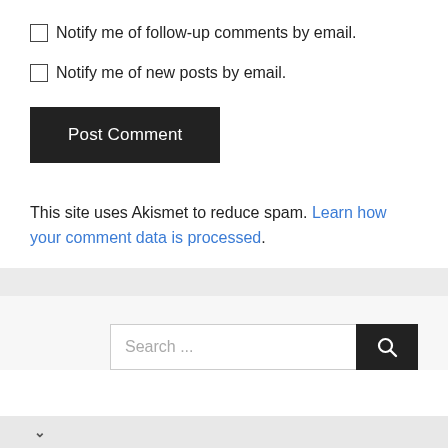Notify me of follow-up comments by email.
Notify me of new posts by email.
Post Comment
This site uses Akismet to reduce spam. Learn how your comment data is processed.
Search ...